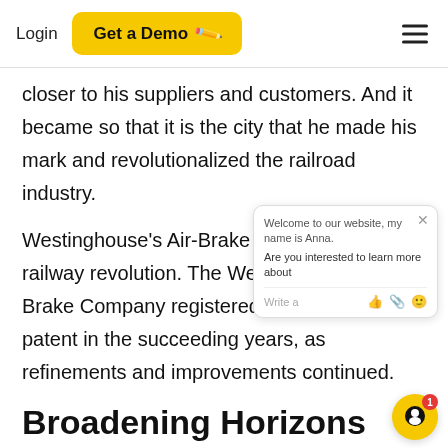Login  Get a Demo
closer to his suppliers and customers. And it became so that it is the city that he made his mark and revolutionalized the railroad industry.
Westinghouse's Air-Brake System led the railway revolution. The Westinghouse Air Brake Company registered patent after patent in the succeeding years, as refinements and improvements continued.
Broadening Horizons
In the early 1880s, Westinghouse was a
[Figure (screenshot): Chat widget overlay: Welcome to our website, my name is Anna. Are you interested to learn more about. Write a [icons].]
[Figure (illustration): Yellow circular chat launcher button with a person/chat icon and red notification badge showing '1'.]